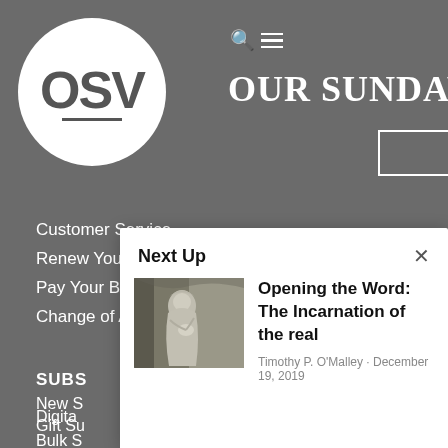[Figure (logo): OSV circular logo with grey background, white circle containing 'OSV' text and double underline]
OUR SUNDAY V
Customer Service
Renew Your Subscription
Pay Your Bill
Change of Address
SUBS
New S
Gift Su
Digita
Bulk S
Next Up
[Figure (photo): Religious nativity sculpture showing Mary and Jesus figures in stone]
Opening the Word: The Incarnation of the real
Timothy P. O'Malley · December 19, 2019